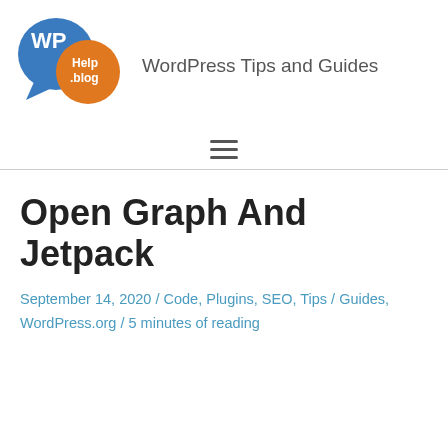[Figure (logo): WP Help.blog logo: blue speech bubble with 'WP' text and orange circle with 'Help.blog' text]
WordPress Tips and Guides
Open Graph And Jetpack
September 14, 2020 / Code, Plugins, SEO, Tips / Guides, WordPress.org / 5 minutes of reading